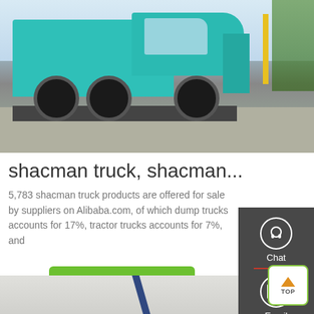[Figure (photo): A teal/turquoise SINOTRUK HOWO dump truck parked on a road with trees and a yellow post in the background]
shacman truck, shacman...
5,783 shacman truck products are offered for sale by suppliers on Alibaba.com, of which dump trucks accounts for 17%, tractor trucks accounts for 7%, and
[Figure (infographic): Side panel with Chat, Email, and Contact icons on dark grey background]
Chat
Email
Contact
[Figure (photo): Partial image at bottom of page showing a dark blue rod/pipe at an angle]
[Figure (infographic): TOP button - white box with green border, orange up arrow, and TOP text]